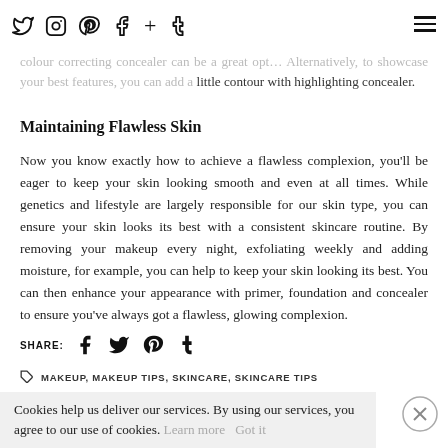[social icons: twitter, instagram, pinterest, facebook, plus, tumblr] [hamburger menu]
colour correcting concealer can be a great opt... Alternatively, to showcase your best features, you can add a little contour with highlighting concealer.
Maintaining Flawless Skin
Now you know exactly how to achieve a flawless complexion, you'll be eager to keep your skin looking smooth and even at all times. While genetics and lifestyle are largely responsible for our skin type, you can ensure your skin looks its best with a consistent skincare routine. By removing your makeup every night, exfoliating weekly and adding moisture, for example, you can help to keep your skin looking its best. You can then enhance your appearance with primer, foundation and concealer to ensure you've always got a flawless, glowing complexion.
SHARE: [facebook] [twitter] [pinterest] [tumblr]
MAKEUP, MAKEUP TIPS, SKINCARE, SKINCARE TIPS
Cookies help us deliver our services. By using our services, you agree to our use of cookies. Learn more   Got it